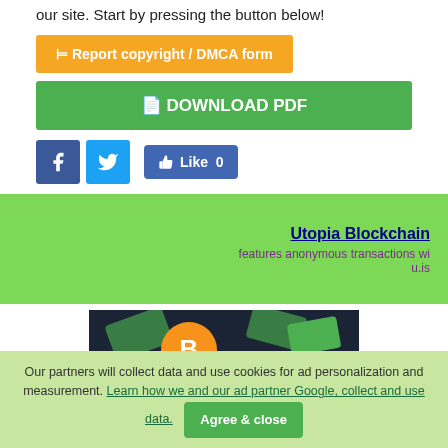our site. Start by pressing the button below!
⊨ Report copyright / DMCA form
📄 DOWNLOAD PDF
[Figure (other): Social media buttons: Facebook, Twitter, and a Like button showing 0 likes]
[Figure (other): Green advertisement box for Utopia Blockchain featuring anonymous transactions, url: u.is]
[Figure (photo): Cryptocurrency themed image with Bitcoin coins, dollar bills, and Hollywood style letters with LA cap character]
Our partners will collect data and use cookies for ad personalization and measurement. Learn how we and our ad partner Google, collect and use data. Agree & close